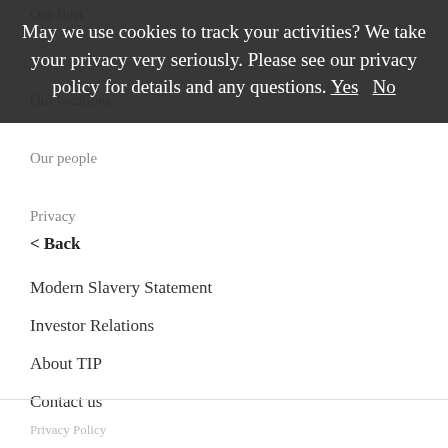Our fleet
Our locations
Our people
Privacy
May we use cookies to track your activities? We take your privacy very seriously. Please see our privacy policy for details and any questions. Yes No
< Back
Modern Slavery Statement
Investor Relations
About TIP
Contact us
Email address
By submitting this form, I agree that TIP will process my data according to TIP's privacy policy.
Privacy Policy